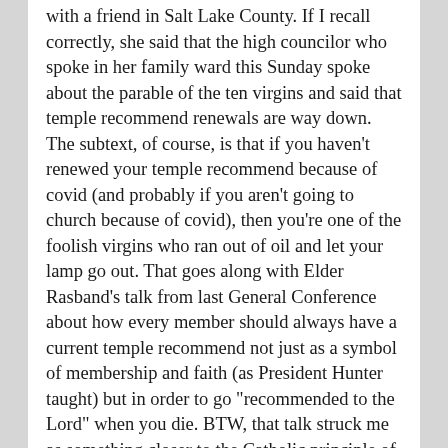with a friend in Salt Lake County. If I recall correctly, she said that the high councilor who spoke in her family ward this Sunday spoke about the parable of the ten virgins and said that temple recommend renewals are way down. The subtext, of course, is that if you haven't renewed your temple recommend because of covid (and probably if you aren't going to church because of covid), then you're one of the foolish virgins who ran out of oil and let your lamp go out. That goes along with Elder Rasband's talk from last General Conference about how every member should always have a current temple recommend not just as a symbol of membership and faith (as President Hunter taught) but in order to go "recommended to the Lord" when you die. BTW, that talk struck me as something closer to the Catholic principle of last rites than I'd ever heard before in our church.
👍 21 👎 2 ℹ Rate This